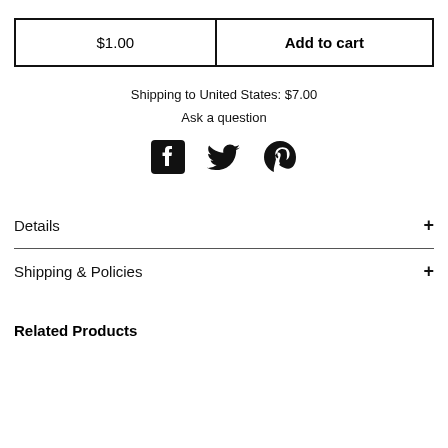| $1.00 | Add to cart |
Shipping to United States: $7.00
Ask a question
[Figure (illustration): Social sharing icons: Facebook, Twitter, Pinterest]
Details +
Shipping & Policies +
Related Products